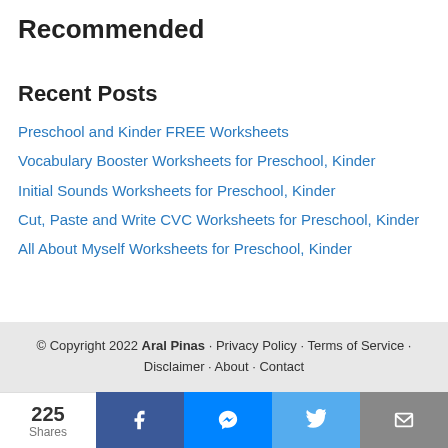Recommended
Recent Posts
Preschool and Kinder FREE Worksheets
Vocabulary Booster Worksheets for Preschool, Kinder
Initial Sounds Worksheets for Preschool, Kinder
Cut, Paste and Write CVC Worksheets for Preschool, Kinder
All About Myself Worksheets for Preschool, Kinder
© Copyright 2022 Aral Pinas · Privacy Policy · Terms of Service · Disclaimer · About · Contact